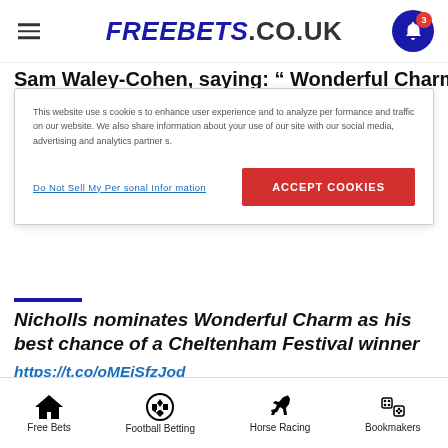FREEBETS.CO.UK
Sam Waley-Cohen, saying: “ Wonderful Charm has a…
This website uses cookies to enhance user experience and to analyze performance and traffic on our website. We also share information about your use of our site with our social media, advertising and analytics partners.
Do Not Sell My Personal Information
Accept Cookies
Nicholls nominates Wonderful Charm as his best chance of a Cheltenham Festival winner https://t.co/oMEiSfzJod pic.twitter.com/CxNbfx6lgr
— Racing Post (@RacingPost) February 26, 2018
Free Bets | Football Betting | Horse Racing | Bookmakers